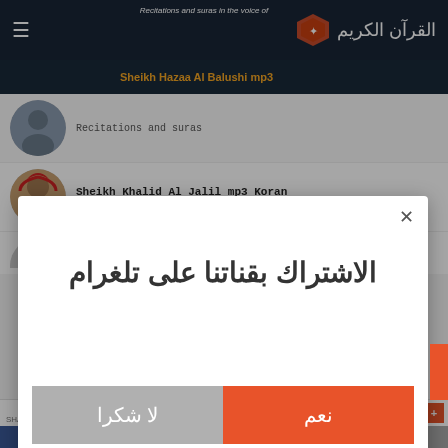Recitations and suras in the voice of Sheikh Hazaa Al Balushi mp3
Sheikh Khalid Al Jalil mp3 Koran
The whole Quran
Fares Abbad whole Quran
[Figure (screenshot): Modal dialog with Arabic text 'الاشتراك بقناتنا على تلغرام' (Subscribe to our Telegram channel) and two buttons: 'نعم' (Yes) in orange-red and 'لا شكرا' (No thanks) in gray]
AddThis